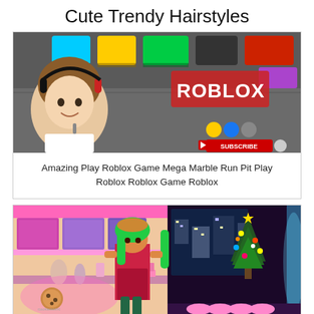Cute Trendy Hairstyles
[Figure (screenshot): YouTube thumbnail showing a girl with headphones in front of a Roblox game scene with colorful platforms and the Roblox logo, with social media subscribe buttons overlay]
Amazing Play Roblox Game Mega Marble Run Pit Play Roblox Roblox Game Roblox
[Figure (screenshot): Roblox game screenshot showing a colorful kitchen scene with a green-haired character in a red dress, a Christmas tree with lights, pink cabinets, and a cookie icon watermark]